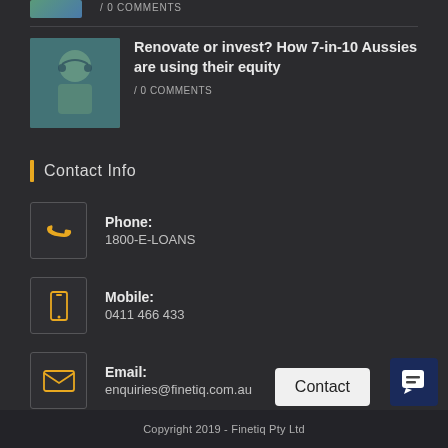/ 0 COMMENTS
[Figure (photo): Thumbnail image of a person at top of page (partially visible)]
[Figure (photo): Thumbnail image of a young man touching his face/ear]
Renovate or invest? How 7-in-10 Aussies are using their equity
/ 0 COMMENTS
Contact Info
Phone:
1800-E-LOANS
Mobile:
0411 466 433
Email:
enquiries@finetiq.com.au
Copyright 2019 - Finetiq Pty Ltd